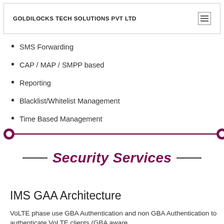GOLDILOCKS TECH SOLUTIONS PVT LTD
SMS Forwarding
CAP / MAP / SMPP based
Reporting
Blacklist/Whitelist Management
Time Based Management
[Figure (infographic): Horizontal purple divider line with filled circles at each end]
Security Services
IMS GAA Architecture
VoLTE phase use GBA Authentication and non GBA Authentication to authenticate VoLTE clients (GBA aware